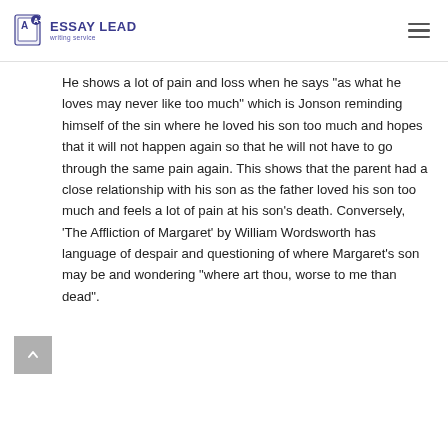ESSAY LEAD writing service
He shows a lot of pain and loss when he says “as what he loves may never like too much” which is Jonson reminding himself of the sin where he loved his son too much and hopes that it will not happen again so that he will not have to go through the same pain again. This shows that the parent had a close relationship with his son as the father loved his son too much and feels a lot of pain at his son’s death. Conversely, ‘The Affliction of Margaret’ by William Wordsworth has language of despair and questioning of where Margaret’s son may be and wondering “where art thou, worse to me than dead”.